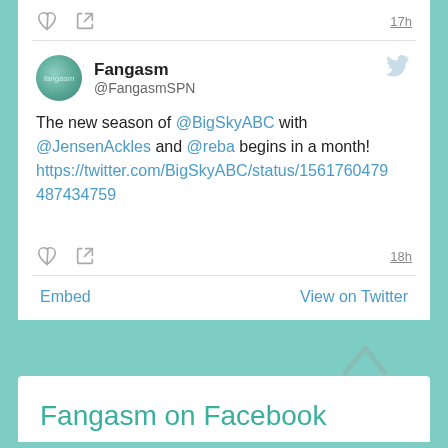[Figure (screenshot): Twitter/social media embed widget showing a tweet from Fangasm (@FangasmSPN) with heart and share icons, timestamp 17h at top and 18h at bottom, and footer links for Embed and View on Twitter]
Fangasm
@FangasmSPN
The new season of @BigSkyABC with @JensenAckles and @reba begins in a month!
https://twitter.com/BigSkyABC/status/15617604794 87434759
Fangasm on Facebook